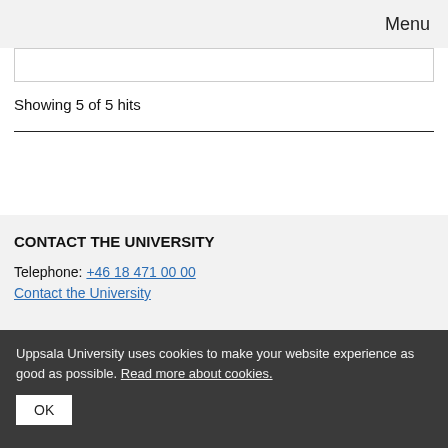Menu
Showing 5 of 5 hits
CONTACT THE UNIVERSITY
Telephone: +46 18 471 00 00
Contact the University
Uppsala University uses cookies to make your website experience as good as possible. Read more about cookies. OK